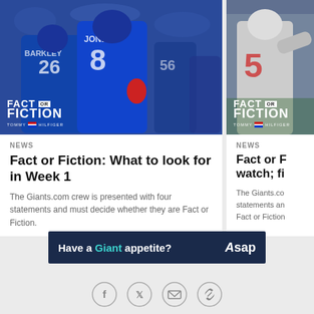[Figure (photo): Two New York Giants players in blue jerseys, numbers 26 (Barkley) and 8 (Jones), embracing on the field. 'Fact or Fiction Tommy Hilfiger' overlay in bottom left. Other players visible in background.]
[Figure (photo): New York Giants player in white/grey jersey reaching up, partial view. 'Fact or Fiction Tommy Hilfiger' overlay in bottom left.]
NEWS
Fact or Fiction: What to look for in Week 1
The Giants.com crew is presented with four statements and must decide whether they are Fact or Fiction.
NEWS
Fact or Fiction: [something to] watch; fi[rst...]
The Giants.com crew is presented with four statements and must decide whether they are Fact or Fiction.
[Figure (infographic): Dark navy advertisement banner: 'Have a Giant appetite?' text with Asap logo on right side.]
[Figure (infographic): Row of four social media icon circles: Facebook, Twitter, Email/envelope, Link/chain icon.]